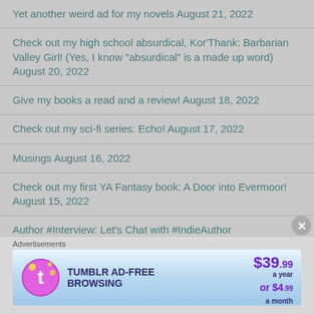Yet another weird ad for my novels August 21, 2022
Check out my high school absurdical, Kor'Thank: Barbarian Valley Girl! (Yes, I know "absurdical" is a made up word) August 20, 2022
Give my books a read and a review! August 18, 2022
Check out my sci-fi series: Echo! August 17, 2022
Musings August 16, 2022
Check out my first YA Fantasy book: A Door into Evermoor! August 15, 2022
Author #Interview: Let's Chat with #IndieAuthor
Advertisements
[Figure (infographic): Tumblr Ad-Free Browsing advertisement banner: $39.99 a year or $4.99 a month]